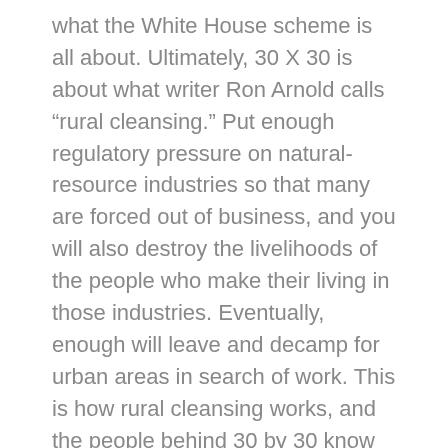what the White House scheme is all about. Ultimately, 30 X 30 is about what writer Ron Arnold calls “rural cleansing.” Put enough regulatory pressure on natural-resource industries so that many are forced out of business, and you will also destroy the livelihoods of the people who make their living in those industries. Eventually, enough will leave and decamp for urban areas in search of work. This is how rural cleansing works, and the people behind 30 by 30 know it. Depopulated rural areas are exactly what they want.
And if out-and-out land acquisitions don’t do the trick, they have other tricks up their sleeve. By adding a few more carefully selected species to the Endangered Species List, land-use restrictions can be imposed on a species’ habitat that can cripple rural economies. The Biden administration is also preparing to bring back Obama’s Waters of the